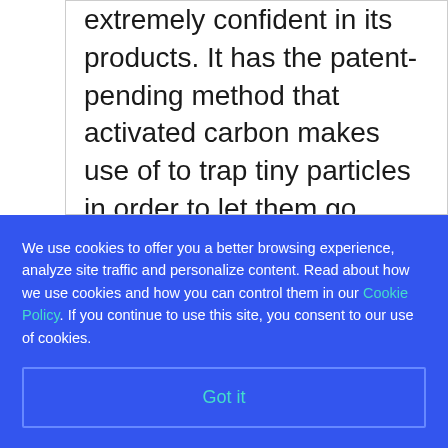extremely confident in its products. It has the patent-pending method that activated carbon makes use of to trap tiny particles in order to let them go through a process known as "adsorption". This unique process guarantees that
We use cookies to offer you a better browsing experience, analyze site traffic and personalize content. Read about how we use cookies and how you can control them in our Cookie Policy. If you continue to use this site, you consent to our use of cookies.
Got it